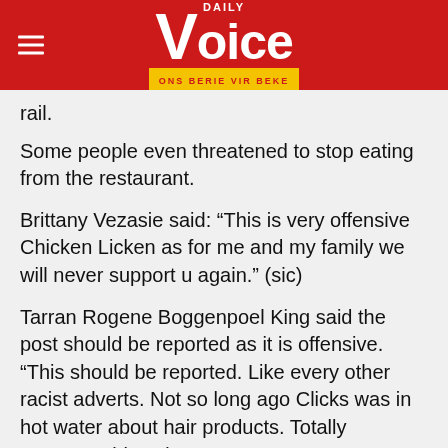Daily Voice — ONS BERIE VIR BEKE
rail.
Some people even threatened to stop eating from the restaurant.
Brittany Vezasie said: “This is very offensive Chicken Licken as for me and my family we will never support u again.” (sic)
Tarran Rogene Boggenpoel King said the post should be reported as it is offensive. “This should be reported. Like every other racist adverts. Not so long ago Clicks was in hot water about hair products. Totally unacceptable. Sies.”
But others were quick to spot that the page is in fact fake.